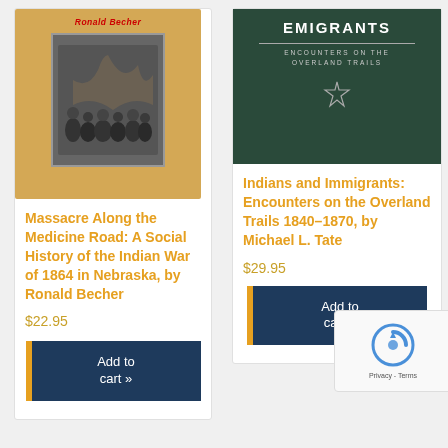[Figure (photo): Book cover for 'Massacre Along the Medicine Road' by Ronald Becher — tan/orange background with a historical group photo and author name in red text]
Massacre Along the Medicine Road: A Social History of the Indian War of 1864 in Nebraska, by Ronald Becher
$22.95
Add to cart »
[Figure (photo): Book cover for 'Indians and Immigrants: Encounters on the Overland Trails' by Michael L. Tate — dark green cover with white uppercase title text and subtitle]
Indians and Immigrants: Encounters on the Overland Trails 1840–1870, by Michael L. Tate
$29.95
Add to cart »